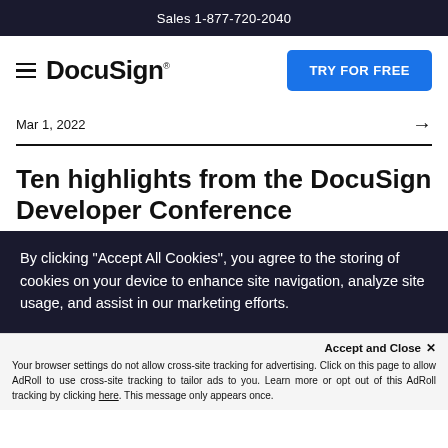Sales 1-877-720-2040
[Figure (logo): DocuSign logo with hamburger menu and TRY FOR FREE button]
Mar 1, 2022
Ten highlights from the DocuSign Developer Conference
By clicking “Accept All Cookies”, you agree to the storing of cookies on your device to enhance site navigation, analyze site usage, and assist in our marketing efforts.
Accept and Close ×
Your browser settings do not allow cross-site tracking for advertising. Click on this page to allow AdRoll to use cross-site tracking to tailor ads to you. Learn more or opt out of this AdRoll tracking by clicking here. This message only appears once.